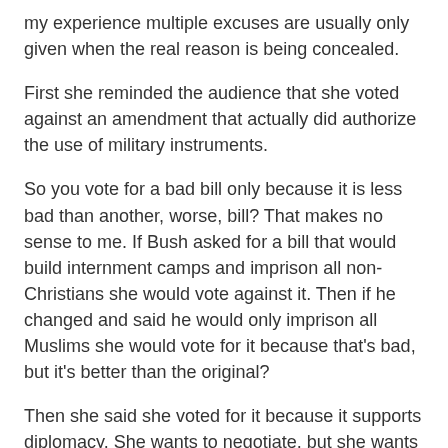my experience multiple excuses are usually only given when the real reason is being concealed.
First she reminded the audience that she voted against an amendment that actually did authorize the use of military instruments.
So you vote for a bad bill only because it is less bad than another, worse, bill? That makes no sense to me. If Bush asked for a bill that would build internment camps and imprison all non-Christians she would vote against it. Then if he changed and said he would only imprison all Muslims she would vote for it because that's bad, but it's better than the original?
Then she said she voted for it because it supports diplomacy. She wants to negotiate, but she wants to do so from a “position of strength.”
This strikes me as a very strange perception of diplomacy. How exactly does labeling the ones you want to negotiate with as terrorists put you into a position of strength? Before